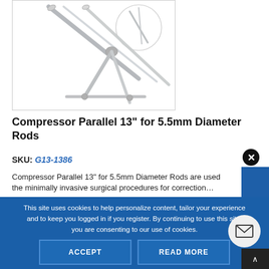[Figure (photo): A Compressor Parallel surgical instrument, metallic/chrome-colored, shown diagonally against white background with a circular detail inset in upper right]
Compressor Parallel 13" for 5.5mm Diameter Rods
SKU: G13-1386
Compressor Parallel 13" for 5.5mm Diameter Rods are used the minimally invasive surgical procedures for correction...
This site uses cookies to help personalize content, tailor your experience and to keep you logged in if you register. By continuing to use this site, you are consenting to our use of cookies.
ACCEPT
READ MORE